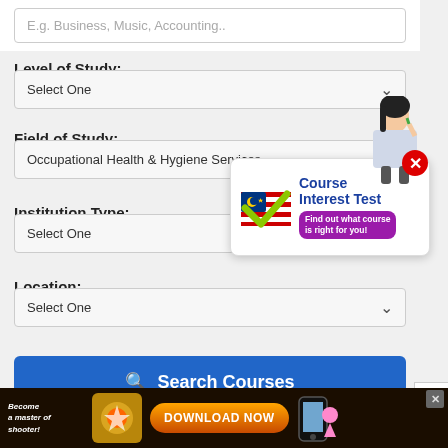E.g. Business, Music, Accounting..
Level of Study:
Select One
Field of Study:
Occupational Health & Hygiene Services
Institution Type:
Select One
Location:
Select One
[Figure (infographic): Course Interest Test popup with Malaysian flag checkmark, girl thinking, and tagline 'Find out what course is right for you!']
Search Courses
[Figure (screenshot): Bottom advertisement bar with 'Become a master of shooter!' text and 'DOWNLOAD NOW' orange button]